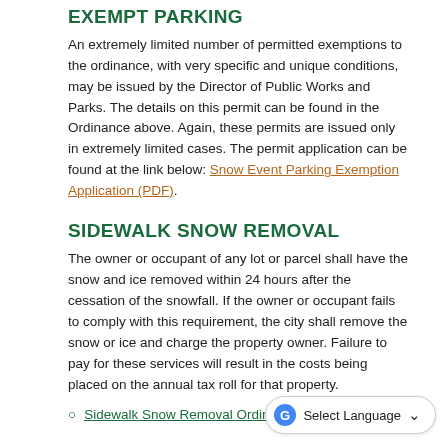EXEMPT PARKING
An extremely limited number of permitted exemptions to the ordinance, with very specific and unique conditions, may be issued by the Director of Public Works and Parks. The details on this permit can be found in the Ordinance above. Again, these permits are issued only in extremely limited cases. The permit application can be found at the link below: Snow Event Parking Exemption Application (PDF).
SIDEWALK SNOW REMOVAL
The owner or occupant of any lot or parcel shall have the snow and ice removed within 24 hours after the cessation of the snowfall. If the owner or occupant fails to comply with this requirement, the city shall remove the snow or ice and charge the property owner. Failure to pay for these services will result in the costs being placed on the annual tax roll for that property.
Sidewalk Snow Removal Ordinance (PDF)